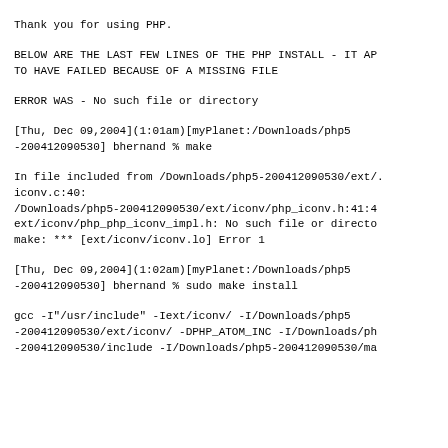Thank you for using PHP.
BELOW ARE THE LAST FEW LINES OF THE PHP INSTALL - IT AP
TO HAVE FAILED BECAUSE OF A MISSING FILE
ERROR WAS - No such file or directory
[Thu, Dec 09,2004](1:01am)[myPlanet:/Downloads/php5
-200412090530] bhernand % make
In file included from /Downloads/php5-200412090530/ext/.
iconv.c:40:
/Downloads/php5-200412090530/ext/iconv/php_iconv.h:41:4
ext/iconv/php_php_iconv_impl.h: No such file or directo
make: *** [ext/iconv/iconv.lo] Error 1
[Thu, Dec 09,2004](1:02am)[myPlanet:/Downloads/php5
-200412090530] bhernand % sudo make install
gcc -I"/usr/include" -Iext/iconv/ -I/Downloads/php5
-200412090530/ext/iconv/ -DPHP_ATOM_INC -I/Downloads/ph
-200412090530/include -I/Downloads/php5-200412090530/ma